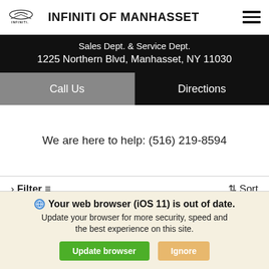INFINITI OF MANHASSET
Sales Dept. & Service Dept. 1225 Northern Blvd, Manhasset, NY 11030
Call Us
Directions
We are here to help: (516) 219-8594
Filter  Sort
Your web browser (iOS 11) is out of date. Update your browser for more security, speed and the best experience on this site.